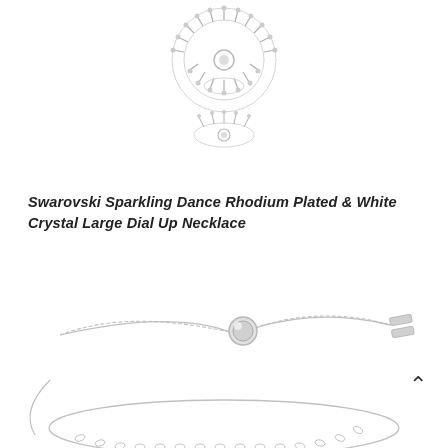[Figure (photo): Swarovski crystal necklace pendant viewed from front — circular sunburst design with white crystals arranged in a fan/dial pattern, rhodium plated silver tone, shown on white background]
Swarovski Sparkling Dance Rhodium Plated & White Crystal Large Dial Up Necklace
[Figure (photo): Swarovski adjustable slider bracelet/necklace chain — rhodium plated silver tone delicate chain with a round ball slider clasp and two rectangular end stops, shown from above on white background. A caret/arrow symbol pointing up is visible at the right edge.]